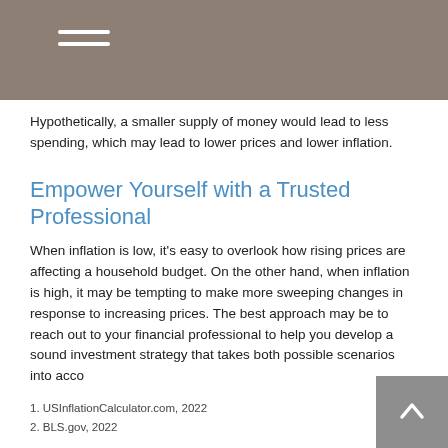Hypothetically, a smaller supply of money would lead to less spending, which may lead to lower prices and lower inflation.
Empower Yourself with a Trusted Professional
When inflation is low, it's easy to overlook how rising prices are affecting a household budget. On the other hand, when inflation is high, it may be tempting to make more sweeping changes in response to increasing prices. The best approach may be to reach out to your financial professional to help you develop a sound investment strategy that takes both possible scenarios into acco…
1. USInflationCalculator.com, 2022
2. BLS.gov, 2022